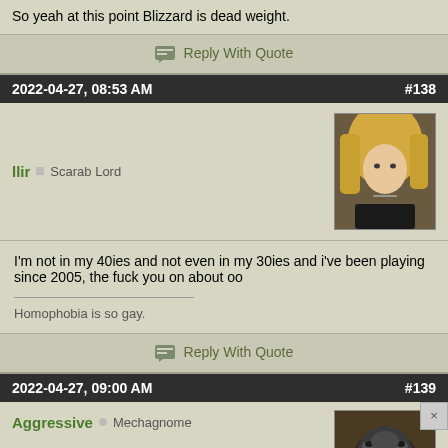So yeah at this point Blizzard is dead weight.
Reply With Quote
2022-04-27, 08:53 AM   #138
llir  Scarab Lord
[Figure (photo): Avatar of user llir: blonde person with black clothing]
I'm not in my 40ies and not even in my 30ies and i've been playing since 2005, the fuck you on about oo
Homophobia is so gay.
Reply With Quote
2022-04-27, 09:00 AM   #139
Aggressive  Mechagnome
[Figure (photo): Partial avatar of user Aggressive: appears to be a gorilla or primate]
[Figure (photo): Advertisement banner for MAC cosmetics showing lipsticks with SHOP NOW button]